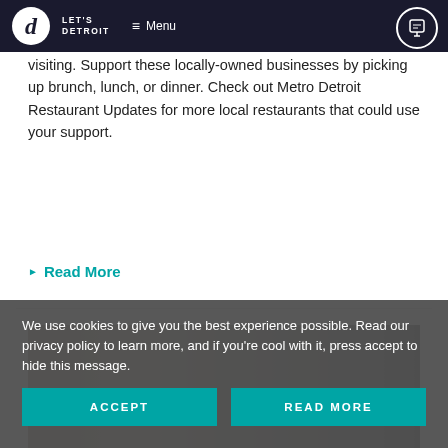LET'S DETROIT — Menu
visiting. Support these locally-owned businesses by picking up brunch, lunch, or dinner. Check out Metro Detroit Restaurant Updates for more local restaurants that could use your support.
▶ Read More
[Figure (photo): Partial view of a food/drink item on a table, blurred background]
We use cookies to give you the best experience possible. Read our privacy policy to learn more, and if you're cool with it, press accept to hide this message.
ACCEPT   READ MORE